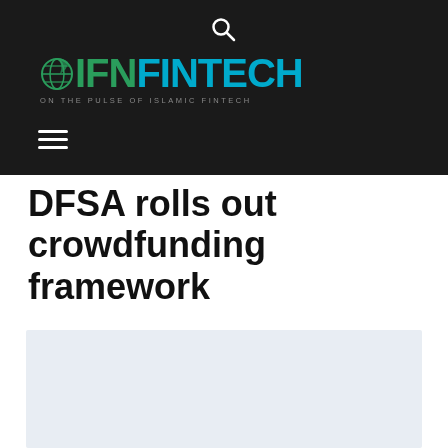IFN FINTECH — ON THE PULSE OF ISLAMIC FINTECH
DFSA rolls out crowdfunding framework
[Figure (photo): Placeholder image area with light blue-grey background]